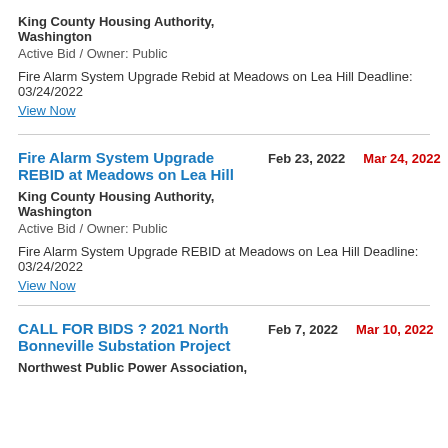King County Housing Authority, Washington
Active Bid / Owner: Public
Fire Alarm System Upgrade Rebid at Meadows on Lea Hill Deadline: 03/24/2022
View Now
Fire Alarm System Upgrade REBID at Meadows on Lea Hill
Feb 23, 2022
Mar 24, 2022
King County Housing Authority, Washington
Active Bid / Owner: Public
Fire Alarm System Upgrade REBID at Meadows on Lea Hill Deadline: 03/24/2022
View Now
CALL FOR BIDS ? 2021 North Bonneville Substation Project
Feb 7, 2022
Mar 10, 2022
Northwest Public Power Association,